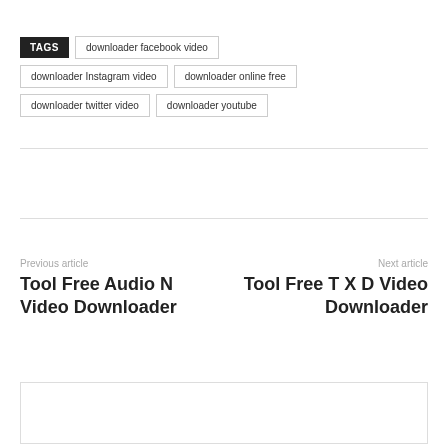TAGS | downloader facebook video | downloader Instagram video | downloader online free | downloader twitter video | downloader youtube
Previous article
Tool Free Audio N Video Downloader
Next article
Tool Free T X D Video Downloader